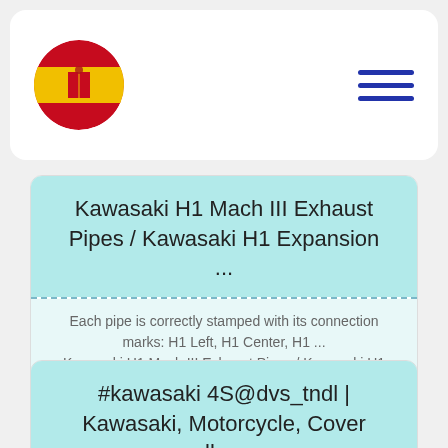[Figure (logo): Spanish flag circle logo on white rounded header bar with hamburger menu icon]
Kawasaki H1 Mach III Exhaust Pipes / Kawasaki H1 Expansion ...
Each pipe is correctly stamped with its connection marks: H1 Left, H1 Center, H1 ... Kawasaki H1 Mach III Exhaust Pipes / Kawasaki H1 Expansion Chambers.
READ
#kawasaki 4S@dvs_tndl | Kawasaki, Motorcycle, Cover wallpaper